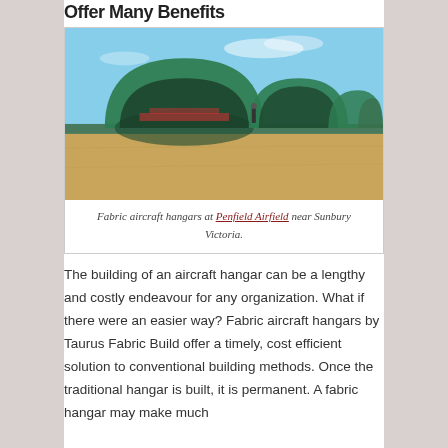Offer Many Benefits
[Figure (photo): Row of green fabric aircraft hangars at Penfield Airfield near Sunbury Victoria, Australia. The hangars have arched tunnel shapes covered in green fabric, lined up in a row on dry grassland under a blue sky.]
Fabric aircraft hangars at Penfield Airfield near Sunbury Victoria.
The building of an aircraft hangar can be a lengthy and costly endeavour for any organization. What if there were an easier way? Fabric aircraft hangars by Taurus Fabric Build offer a timely, cost efficient solution to conventional building methods. Once the traditional hangar is built, it is permanent. A fabric hangar may make much